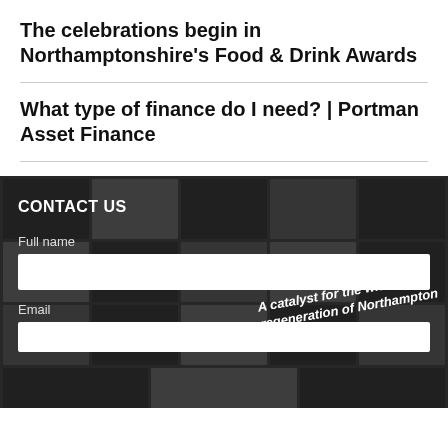The celebrations begin in Northamptonshire's Food & Drink Awards
What type of finance do I need? | Portman Asset Finance
[Figure (photo): Dark background collage of newspaper/magazine pages with text overlay reading 'A catalyst for the wider regeneration of Northampton']
CONTACT US
Full name
Email